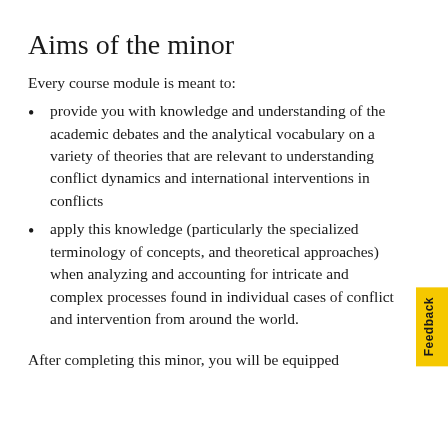Aims of the minor
Every course module is meant to:
provide you with knowledge and understanding of the academic debates and the analytical vocabulary on a variety of theories that are relevant to understanding conflict dynamics and international interventions in conflicts
apply this knowledge (particularly the specialized terminology of concepts, and theoretical approaches) when analyzing and accounting for intricate and complex processes found in individual cases of conflict and intervention from around the world.
After completing this minor, you will be equipped